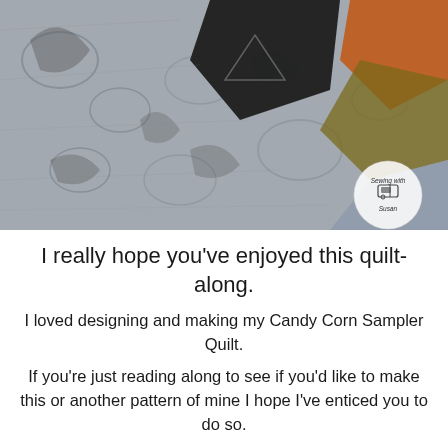[Figure (photo): Close-up photo of a quilt fabric with grey/blue paisley and floral patterns, a black triangular fabric piece in the upper center, orange fabric in the upper right corner, and a circular 'Sewing with Susan' watermark logo in the lower right area.]
I really hope you’ve enjoyed this quilt-along.
I loved designing and making my Candy Corn Sampler Quilt.
If you’re just reading along to see if you'd like to make this or another pattern of mine I hope I’ve enticed you to do so.
If you’d to buy a copy from Sewing With S...